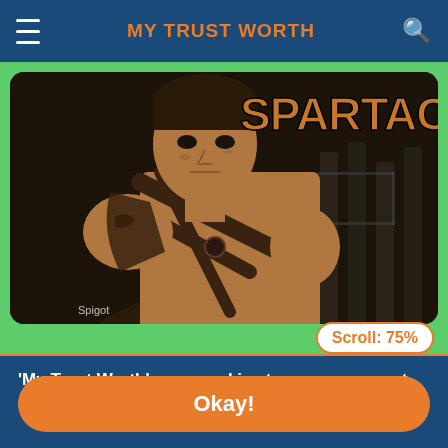MY TRUST WORTH
[Figure (screenshot): Spartacus TV show promotional image showing a muscular warrior man with leather armor straps across chest, with 'SPARTACUS' text in large orange/gold letters in background. Dark, gritty dungeon-like setting. 'Spigot' watermark in lower left.]
Scroll: 75%
'My Trust Worth' uses cookies to ensure you get the best experience on our website.
Okay!